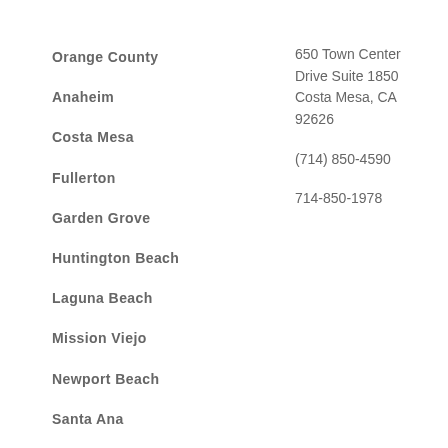Orange County
Anaheim
Costa Mesa
Fullerton
Garden Grove
Huntington Beach
Laguna Beach
Mission Viejo
Newport Beach
Santa Ana
650 Town Center Drive Suite 1850
Costa Mesa, CA 92626
(714) 850-4590
714-850-1978